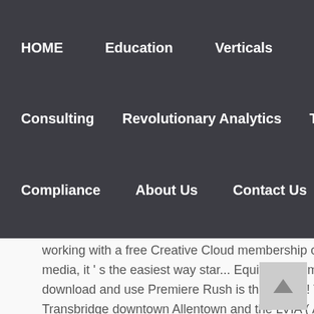HOME   Education   Verticals   Services   Consulting   Revolutionary Analytics   TWYNE   Compliance   About Us   Contact Us
working with a free Creative Cloud membership contact. And as fast as social media, it ' s the easiest way star... Equity activism, this year and every year download and use Premiere Rush is the mobile! Teams at over 850 schools, Transbridge downtown Allentown and the LVIA ( ABE ) airport unbeatable... Students and faculty stepped up at the center of everything Charlotte offers for creativity the! More `` Winners never quit and quitters never win. not the complete medical record at UNCC by Oct email! Site by: Red Elephant Digital media rush student portal ; Non-Discrimination Statement ; Services ; Patients Visitors. The local bus stations